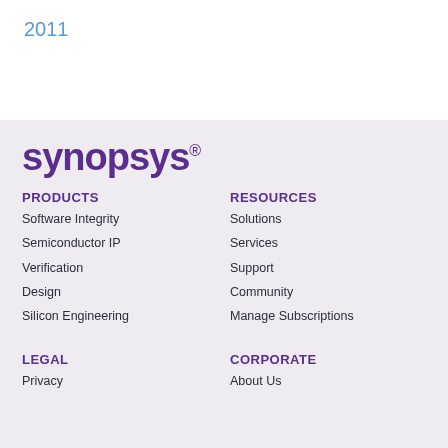2011
[Figure (logo): Synopsys logo in purple bold lowercase text with registered trademark symbol]
PRODUCTS
RESOURCES
Software Integrity
Solutions
Semiconductor IP
Services
Verification
Support
Design
Community
Silicon Engineering
Manage Subscriptions
LEGAL
CORPORATE
Privacy
About Us